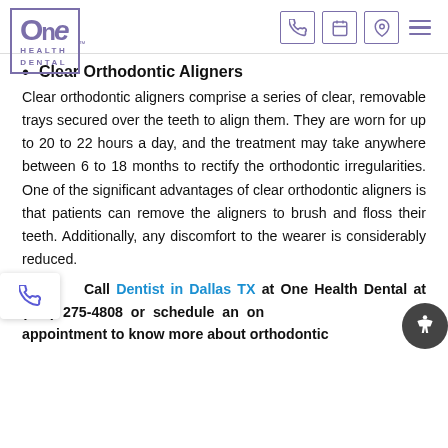One Health Dental — logo and navigation icons
Clear Orthodontic Aligners
Clear orthodontic aligners comprise a series of clear, removable trays secured over the teeth to align them. They are worn for up to 20 to 22 hours a day, and the treatment may take anywhere between 6 to 18 months to rectify the orthodontic irregularities. One of the significant advantages of clear orthodontic aligners is that patients can remove the aligners to brush and floss their teeth. Additionally, any discomfort to the wearer is considerably reduced.
Call Dentist in Dallas TX at One Health Dental at (214) 275-4808 or schedule an online appointment to know more about orthodontic